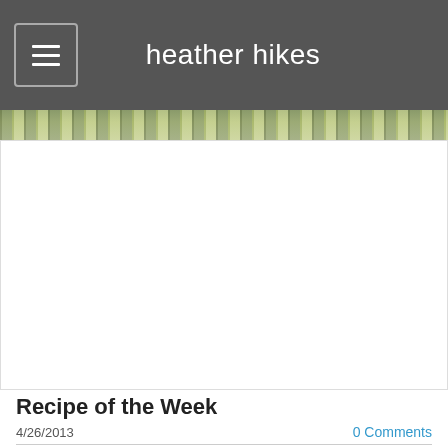heather hikes
[Figure (photo): Outdoor nature/forest photo strip at top of blog page]
Recipe of the Week
4/26/2013   0 Comments
I have had a lot of inquiries about what I eat. It does take some planning to find things that are pack able, edible, and somewhat nutritious.
For the first week and a half or so, this was my lunch:
LEMON TUNA COUSCOUS
1/3 cup couscous
1teaspoon mint